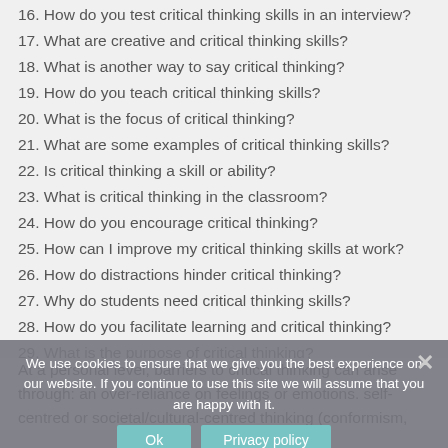16. How do you test critical thinking skills in an interview?
17. What are creative and critical thinking skills?
18. What is another way to say critical thinking?
19. How do you teach critical thinking skills?
20. What is the focus of critical thinking?
21. What are some examples of critical thinking skills?
22. Is critical thinking a skill or ability?
23. What is critical thinking in the classroom?
24. How do you encourage critical thinking?
25. How can I improve my critical thinking skills at work?
26. How do distractions hinder critical thinking?
27. Why do students need critical thinking skills?
28. How do you facilitate learning and critical thinking?
29. What is the purpose of critical thinking?
At a personal level, barriers to critical thinking can arise through: an over-reliance on feelings or emotions. self-centred or societal/cultural-centred thinking (conformism,
We use cookies to ensure that we give you the best experience on our website. If you continue to use this site we will assume that you are happy with it.